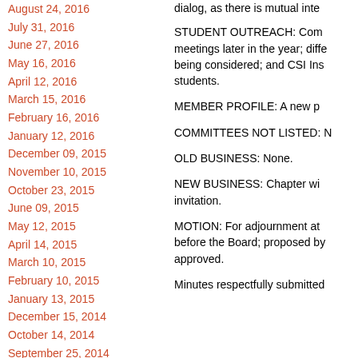August 24, 2016
July 31, 2016
June 27, 2016
May 16, 2016
April 12, 2016
March 15, 2016
February 16, 2016
January 12, 2016
December 09, 2015
November 10, 2015
October 23, 2015
June 09, 2015
May 12, 2015
April 14, 2015
March 10, 2015
February 10, 2015
January 13, 2015
December 15, 2014
October 14, 2014
September 25, 2014
August 08, 2014
July 10, 2014
May 13, 2014
STUDENT OUTREACH:   Com meetings later in the year; diffe being considered; and CSI Ins students.
MEMBER PROFILE:   A new p
COMMITTEES NOT LISTED: N
OLD BUSINESS:   None.
NEW BUSINESS:   Chapter wi invitation.
MOTION:  For adjournment at before the Board; proposed by approved.
Minutes respectfully submitted